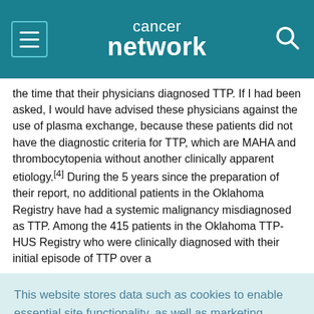cancer network
the time that their physicians diagnosed TTP. If I had been asked, I would have advised these physicians against the use of plasma exchange, because these patients did not have the diagnostic criteria for TTP, which are MAHA and thrombocytopenia without another clinically apparent etiology.[4] During the 5 years since the preparation of their report, no additional patients in the Oklahoma Registry have had a systemic malignancy misdiagnosed as TTP. Among the 415 patients in the Oklahoma TTP-HUS Registry who were clinically diagnosed with their initial episode of TTP over a
This website stores data such as cookies to enable essential site functionality, as well as marketing, personalization, and analytics. Cookie Policy
Accept
Deny